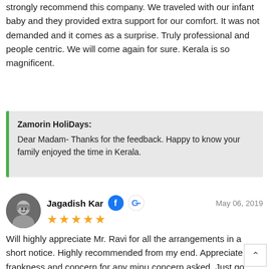strongly recommend this company. We traveled with our infant baby and they provided extra support for our comfort. It was not demanded and it comes as a surprise. Truly professional and people centric. We will come again for sure. Kerala is so magnificent.
Zamorin HoliDays: Dear Madam- Thanks for the feedback. Happy to know your family enjoyed the time in Kerala.
Jagadish Kar   May 06, 2019 ★★★★★ Will highly appreciate Mr. Ravi for all the arrangements in a short notice. Highly recommended from my end. Appreciate his frankness and concern for any minu concern asked. Just go ahead and book your memorable trip